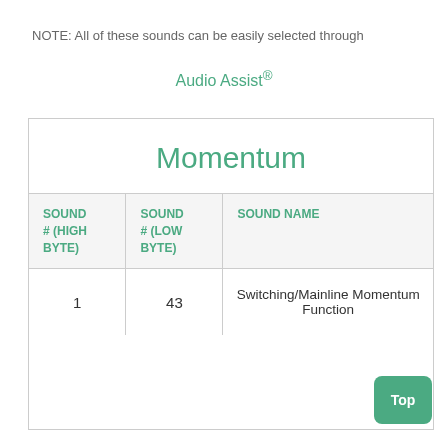NOTE: All of these sounds can be easily selected through
Audio Assist®
| SOUND # (HIGH BYTE) | SOUND # (LOW BYTE) | SOUND NAME |
| --- | --- | --- |
| 1 | 43 | Switching/Mainline Momentum Function |